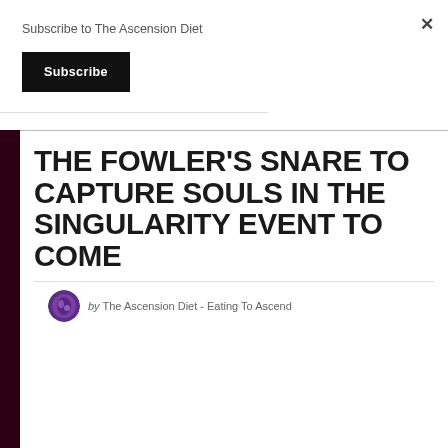Subscribe to The Ascension Diet
Subscribe
THE FOWLER'S SNARE TO CAPTURE SOULS IN THE SINGULARITY EVENT TO COME
by The Ascension Diet - Eating To Ascend